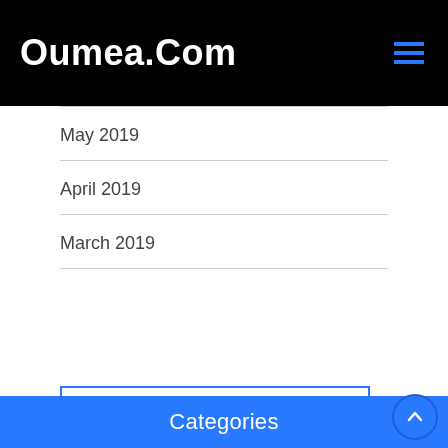Oumea.Com
May 2019
April 2019
March 2019
Categories